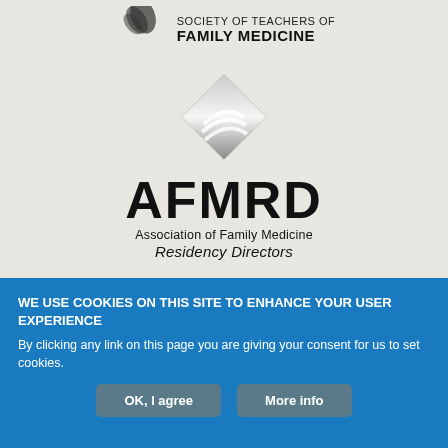[Figure (logo): Partial STFM (Society of Teachers of Family Medicine) logo at top, and AFMRD (Association of Family Medicine Residency Directors) logo with diamond graphic below, on a light gray background.]
WE USE COOKIES ON THIS SITE TO ENHANCE YOUR USER EXPERIENCE
By clicking any link on this page you are giving your consent for us to set cookies.
OK, I agree
More info